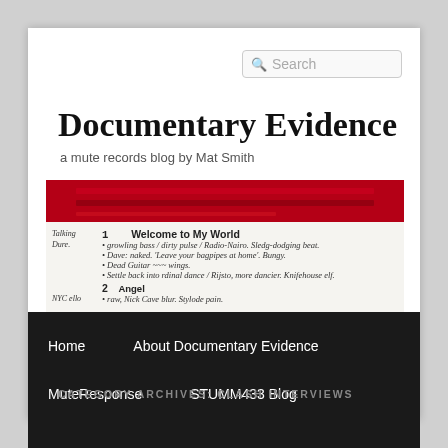[Figure (screenshot): Search bar in top right with magnifying glass icon and placeholder text 'Search']
Documentary Evidence
a mute records blog by Mat Smith
[Figure (photo): Scanned document page showing handwritten notes about songs: 1. Welcome to My World with handwritten notes, 2. Angel with handwritten notes, with red banner image at top]
Home   About Documentary Evidence   MuteResponse   STUMM433 Blog
CATEGORY ARCHIVES: CLASH INTERVIEWS